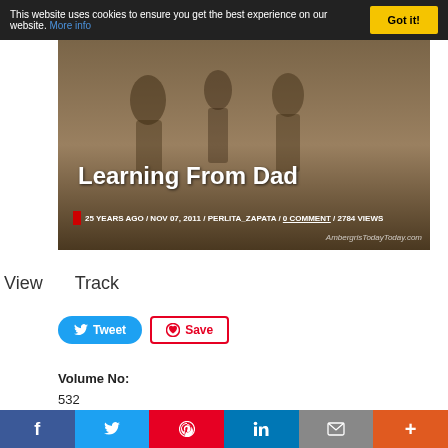This website uses cookies to ensure you get the best experience on our website. More info  Got it!
[Figure (photo): Hero image for article 'Learning From Dad' — sepia-toned photo background with people silhouettes, white bold title text, article metadata below including date and author]
Learning From Dad
25 YEARS AGO / NOV 07, 2011 / PERLITA_ZAPATA / 0 COMMENT / 2784 VIEWS
View   Track
[Figure (infographic): Tweet and Save social sharing buttons]
Volume No:
532
By Angel Nuñez
I learned a whole lot from my Dad and I am pretty sure most of you feel the same way.  It all depends what your interests and endeavors were, whether it was learning to
f  Twitter  Pinterest  in  Email  More